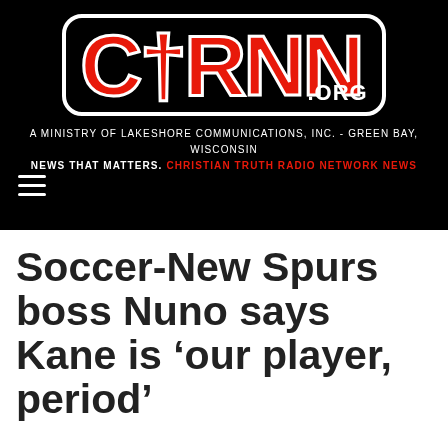[Figure (logo): CTRNN.ORG logo on black background. Large red bold letters 'CTRNN' with a cross incorporated into the C and T, inside a white rounded rectangle border. '.ORG' in white text at bottom right. Below: 'A MINISTRY OF LAKESHORE COMMUNICATIONS, INC. - GREEN BAY, WISCONSIN' in white, and 'NEWS THAT MATTERS. CHRISTIAN TRUTH RADIO NETWORK NEWS' with the second part in red. A hamburger menu icon is visible at bottom left.]
Soccer-New Spurs boss Nuno says Kane is ‘our player, period’